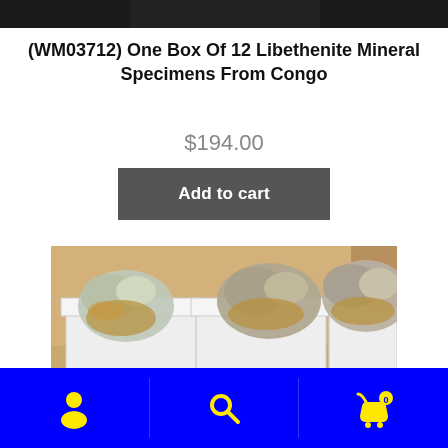[Figure (photo): Top cropped dark image (partial product photo top)]
(WM03712) One Box Of 12 Libethenite Mineral Specimens From Congo
$194.00
Add to cart
[Figure (photo): Photo of a cardboard box containing 12 Libethenite mineral specimens in white gift boxes]
[Figure (other): Blue navigation bar with yellow icons: user/account, search, and cart (showing 0 items)]